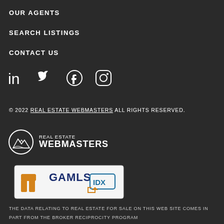OUR AGENTS
SEARCH LISTINGS
CONTACT US
[Figure (illustration): Social media icons: LinkedIn, Twitter, Facebook, Instagram]
© 2022 REAL ESTATE WEBMASTERS ALL RIGHTS RESERVED.
[Figure (logo): Real Estate Webmasters logo with mountain icon and text REAL ESTATE WEBMASTERS]
[Figure (logo): GAMLS IDX logo in orange and dark blue]
THE DATA RELATING TO REAL ESTATE FOR SALE ON THIS WEB SITE COMES IN PART FROM THE BROKER RECIPROCITY PROGRAM